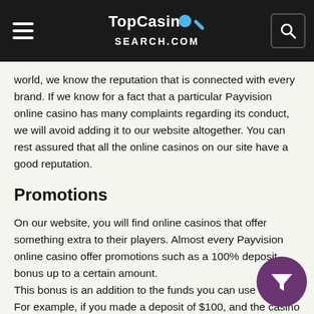TopCasinoSearch.com
world, we know the reputation that is connected with every brand. If we know for a fact that a particular Payvision online casino has many complaints regarding its conduct, we will avoid adding it to our website altogether. You can rest assured that all the online casinos on our site have a good reputation.
Promotions
On our website, you will find online casinos that offer something extra to their players. Almost every Payvision online casino offer promotions such as a 100% deposit bonus up to a certain amount.
This bonus is an addition to the funds you can use to play. For example, if you made a deposit of $100, and the casino had a 100% bonus, you will end up with to use in any game you choose.